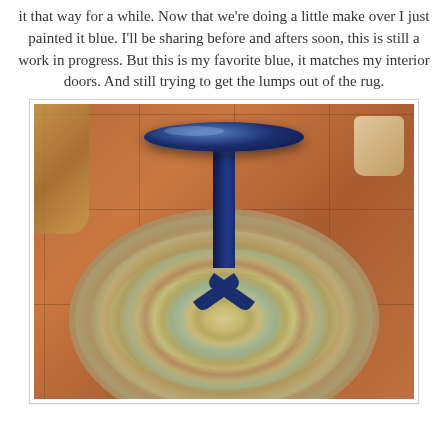This table was a curb side find, FREE! It was black and I kept it that way for a while. Now that we're doing a little make over I just painted it blue. I'll be sharing before and afters soon, this is still a work in progress. But this is my favorite blue, it matches my interior doors. And still trying to get the lumps out of the rug.
[Figure (photo): A blue painted round pedestal table sitting on a circular braided rug on a terracotta tile floor. The table has a glass top and a single cylindrical pedestal with a three-pronged base, all painted navy blue. The rug is round with concentric braided rings in muted colors (cream, tan, sage green, rust). A decorative frame is visible at top left and a container at top right.]